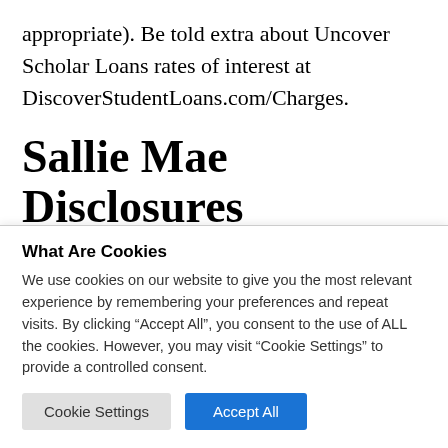appropriate). Be told extra about Uncover Scholar Loans rates of interest at DiscoverStudentLoans.com/Charges.
Sallie Mae Disclosures
1 Lowest charges proven come with auto debit
What Are Cookies
We use cookies on our website to give you the most relevant experience by remembering your preferences and repeat visits. By clicking “Accept All”, you consent to the use of ALL the cookies. However, you may visit “Cookie Settings” to provide a controlled consent.
Cookie Settings | Accept All